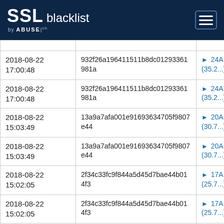SSL blacklist by ABUSE|ch
| Date | Hash | Link |
| --- | --- | --- |
| 2018-08-22 17:00:48 | 932f26a196411511b8dc01293361981a | 24A... (35.2...) |
| 2018-08-22 17:00:48 | 932f26a196411511b8dc01293361981a | 24A... (35.2...) |
| 2018-08-22 15:03:49 | 13a9a7afa001e91693634705f9807e44 | 20A... (30.7...) |
| 2018-08-22 15:03:49 | 13a9a7afa001e91693634705f9807e44 | 20A... (30.7...) |
| 2018-08-22 15:02:05 | 2f34c33fc9f844a5d45d7bae44b014f3 | 17A... (25.7...) |
| 2018-08-22 15:02:05 | 2f34c33fc9f844a5d45d7bae44b014f3 | 17A... (25.7...) |
| 2018-08-22 | ad78daa3e7049f3b12e7f1081bcb544e | 18... |